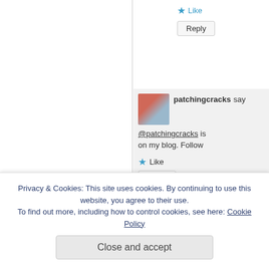Like
Reply
patching cracks says: @patchingcracks is on my blog. Follow
Like
Reply
thesilverofhis
Done. I am th
Privacy & Cookies: This site uses cookies. By continuing to use this website, you agree to their use. To find out more, including how to control cookies, see here: Cookie Policy
Close and accept